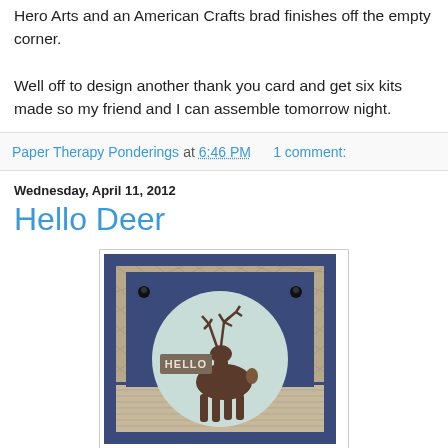Hero Arts and an American Crafts brad finishes off the empty corner.

Well off to design another thank you card and get six kits made so my friend and I can assemble tomorrow night.
Paper Therapy Ponderings at 6:46 PM    1 comment:
Wednesday, April 11, 2012
Hello Deer
[Figure (photo): A handmade greeting card with a deer/elk silhouette stamped on a light mint/blue circle, with 'HELLO' text on a small banner. The card base is dark navy blue with patterned paper (diagonal crosshatch and stripes) and two black brads in the upper corners.]